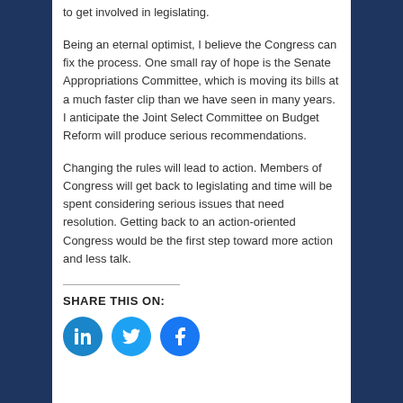to get involved in legislating.
Being an eternal optimist, I believe the Congress can fix the process. One small ray of hope is the Senate Appropriations Committee, which is moving its bills at a much faster clip than we have seen in many years. I anticipate the Joint Select Committee on Budget Reform will produce serious recommendations.
Changing the rules will lead to action. Members of Congress will get back to legislating and time will be spent considering serious issues that need resolution. Getting back to an action-oriented Congress would be the first step toward more action and less talk.
SHARE THIS ON:
[Figure (illustration): Three circular social media share buttons: LinkedIn (dark blue), Twitter (light blue), Facebook (blue)]